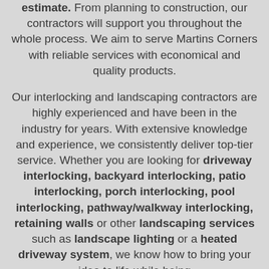estimate. From planning to construction, our contractors will support you throughout the whole process. We aim to serve Martins Corners with reliable services with economical and quality products.

Our interlocking and landscaping contractors are highly experienced and have been in the industry for years. With extensive knowledge and experience, we consistently deliver top-tier service. Whether you are looking for driveway interlocking, backyard interlocking, patio interlocking, porch interlocking, pool interlocking, pathway/walkway interlocking, retaining walls or other landscaping services such as landscape lighting or a heated driveway system, we know how to bring your idea to life while being affordable.